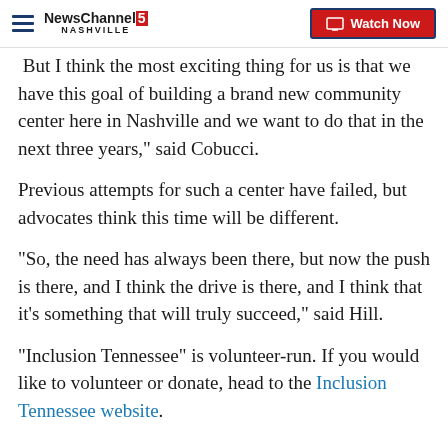NewsChannel 5 Nashville | Watch Now
But I think the most exciting thing for us is that we have this goal of building a brand new community center here in Nashville and we want to do that in the next three years," said Cobucci.
Previous attempts for such a center have failed, but advocates think this time will be different.
"So, the need has always been there, but now the push is there, and I think the drive is there, and I think that it's something that will truly succeed," said Hill.
"Inclusion Tennessee" is volunteer-run. If you would like to volunteer or donate, head to the Inclusion Tennessee website.